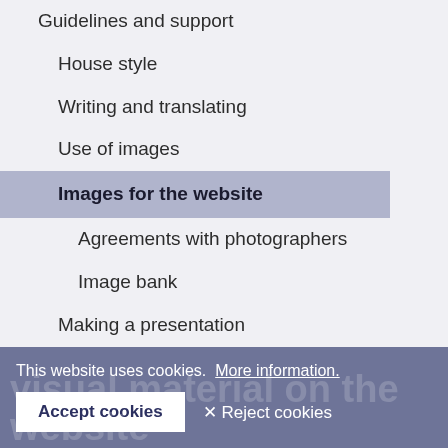Guidelines and support
House style
Writing and translating
Use of images
Images for the website
Agreements with photographers
Image bank
Making a presentation
Website and web editorial team
Social Media
Conferences and Events
Contact
Management and administration
This website uses cookies.  More information.
Accept cookies   ✕ Reject cookies
visual material on the website